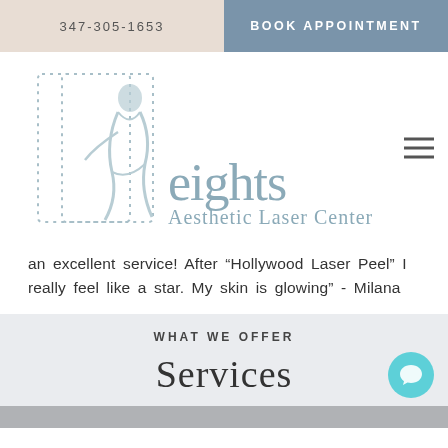347-305-1653
BOOK APPOINTMENT
[Figure (logo): Heights Aesthetic Laser Center logo with stylized female figure and dotted letter H outline, text 'eights Aesthetic Laser Center']
an excellent service! After “Hollywood Laser Peel” I really feel like a star. My skin is glowing" - Milana
WHAT WE OFFER
Services